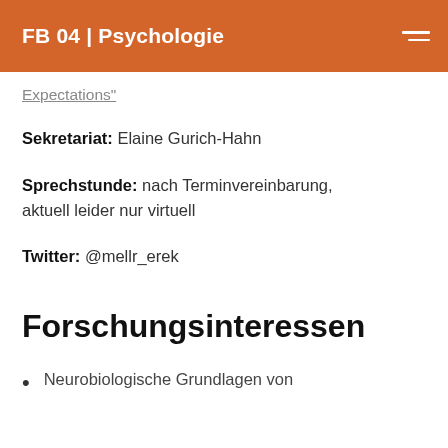FB 04 | Psychologie
Expectations"
Sekretariat: Elaine Gurich-Hahn
Sprechstunde: nach Terminvereinbarung, aktuell leider nur virtuell
Twitter: @mellr_erek
Forschungsinteressen
Neurobiologische Grundlagen von